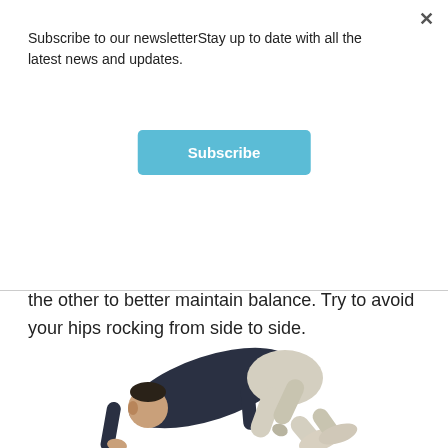Subscribe to our newsletterStay up to date with all the latest news and updates.
Subscribe
the other to better maintain balance. Try to avoid your hips rocking from side to side.
[Figure (photo): A person in a dark long-sleeve shirt and light-colored pants performing a quadruped or bear crawl position on hands and knees, viewed from the side.]